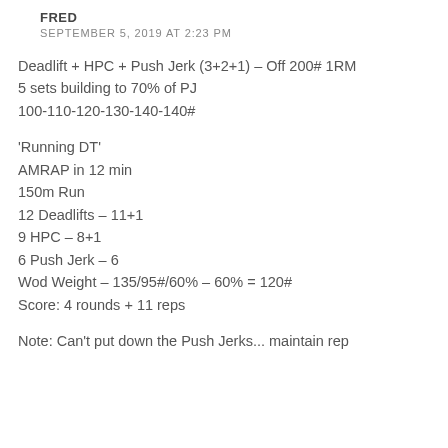FRED
SEPTEMBER 5, 2019 AT 2:23 PM
Deadlift + HPC + Push Jerk (3+2+1) – Off 200# 1RM
5 sets building to 70% of PJ
100-110-120-130-140-140#
'Running DT'
AMRAP in 12 min
150m Run
12 Deadlifts – 11+1
9 HPC – 8+1
6 Push Jerk – 6
Wod Weight – 135/95#/60% – 60% = 120#
Score: 4 rounds + 11 reps
Note: Can't put down the Push Jerks... maintain rep